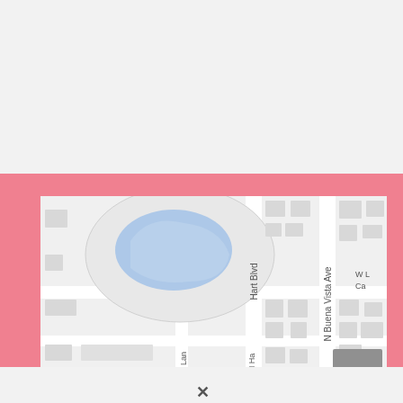[Figure (map): Street map showing N Buena Vista Ave, Hart Blvd, N Lan (partial), N Ha (partial), W L Ca (partial) streets with a blue pond/lake feature in a park area. Buildings shown as gray blocks on white background. Pink border surrounds the map inset.]